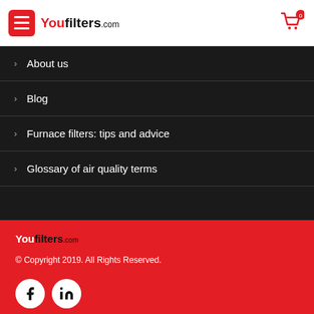YouFilters.com navigation header with hamburger menu and cart icon showing 0
> About us
> Blog
> Furnace filters: tips and advice
> Glossary of air quality terms
YouFilters.com © Copyright 2019. All Rights Reserved. Facebook LinkedIn social icons